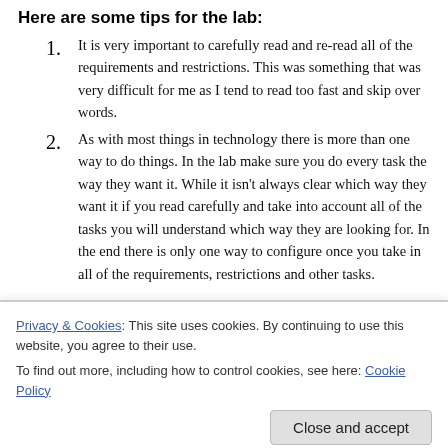Here are some tips for the lab:
It is very important to carefully read and re-read all of the requirements and restrictions. This was something that was very difficult for me as I tend to read too fast and skip over words.
As with most things in technology there is more than one way to do things. In the lab make sure you do every task the way they want it. While it isn't always clear which way they want it if you read carefully and take into account all of the tasks you will understand which way they are looking for. In the end there is only one way to configure once you take in all of the requirements, restrictions and other tasks.
Privacy & Cookies: This site uses cookies. By continuing to use this website, you agree to their use. To find out more, including how to control cookies, see here: Cookie Policy
interface.